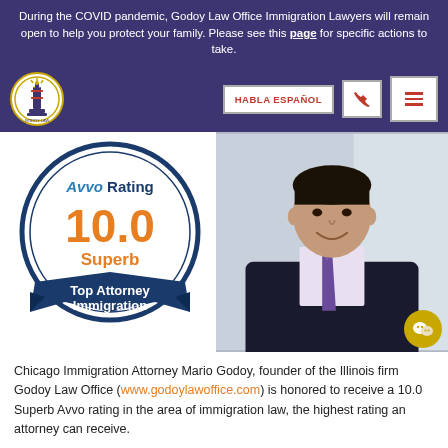During the COVID pandemic, Godoy Law Office Immigration Lawyers will remain open to help you protect your family. Please see this page for specific actions to take.
[Figure (logo): Godoy Law Office circular logo with Statue of Liberty]
HABLA ESPAÑOL
[Figure (illustration): Avvo Rating 10.0 Superb Top Attorney Immigration badge]
[Figure (photo): Professional headshot of Chicago Immigration Attorney Mario Godoy in a dark suit and purple tie]
Chicago Immigration Attorney Mario Godoy, founder of the Illinois firm Godoy Law Office (www.godoylawoffice.com) is honored to receive a 10.0 Superb Avvo rating in the area of immigration law, the highest rating an attorney can receive.